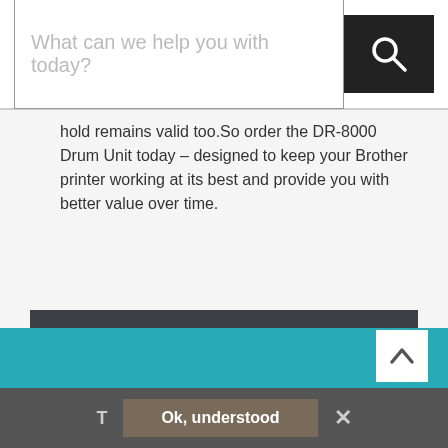[Figure (screenshot): Search bar with placeholder text 'What can we help you with today?' and a black search button with magnifying glass icon]
hold remains valid too.So order the DR-8000 Drum Unit today – designed to keep your Brother printer working at its best and provide you with better value over time.
Product Details
Compatible Printers
People who bought this also bought
[Figure (screenshot): Teal footer strip with white scroll-to-top arrow button]
T  Ok, understood  ✕